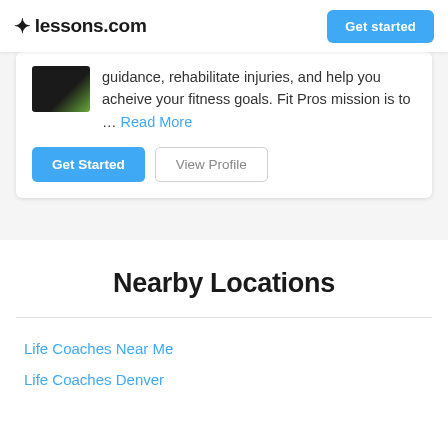lessons.com | Get started
guidance, rehabilitate injuries, and help you acheive your fitness goals. Fit Pros mission is to … Read More
Get Started | View Profile
Nearby Locations
Life Coaches Near Me
Life Coaches Denver